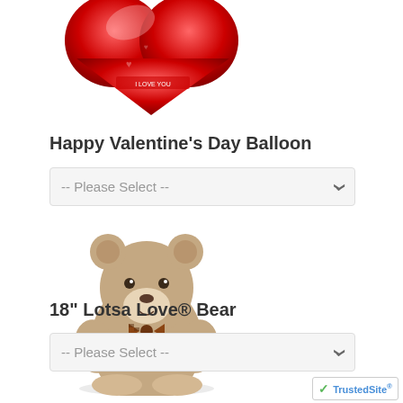[Figure (photo): Red heart-shaped Valentine's Day balloon, partially cropped at top]
Happy Valentine's Day Balloon
[Figure (other): Dropdown select field labeled -- Please Select --]
[Figure (photo): Tan/beige teddy bear with bow tie sitting upright on white background]
18" Lotsa Love® Bear
[Figure (other): Dropdown select field labeled -- Please Select --]
[Figure (logo): TrustedSite badge with green checkmark in bottom right corner]